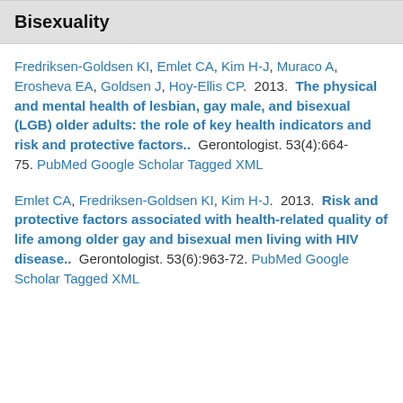Bisexuality
Fredriksen-Goldsen KI, Emlet CA, Kim H-J, Muraco A, Erosheva EA, Goldsen J, Hoy-Ellis CP.  2013.  The physical and mental health of lesbian, gay male, and bisexual (LGB) older adults: the role of key health indicators and risk and protective factors..  Gerontologist. 53(4):664-75. PubMed Google Scholar Tagged XML
Emlet CA, Fredriksen-Goldsen KI, Kim H-J.  2013.  Risk and protective factors associated with health-related quality of life among older gay and bisexual men living with HIV disease..  Gerontologist. 53(6):963-72. PubMed Google Scholar Tagged XML